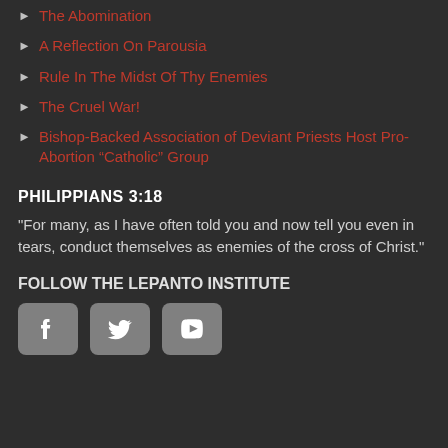The Abomination
A Reflection On Parousia
Rule In The Midst Of Thy Enemies
The Cruel War!
Bishop-Backed Association of Deviant Priests Host Pro-Abortion “Catholic” Group
PHILIPPIANS 3:18
“For many, as I have often told you and now tell you even in tears, conduct themselves as enemies of the cross of Christ.”
FOLLOW THE LEPANTO INSTITUTE
[Figure (other): Social media icons: Facebook, Twitter, YouTube]